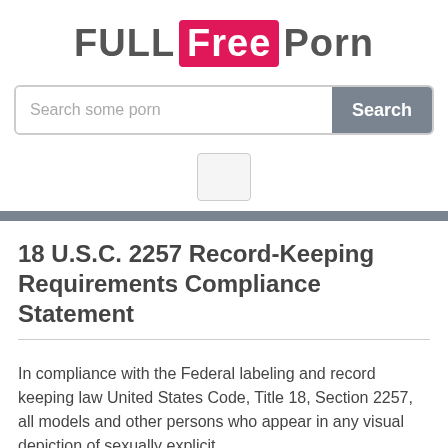FULL Free Porn
Search some porn
[Figure (other): Small placeholder box/image area]
18 U.S.C. 2257 Record-Keeping Requirements Compliance Statement
In compliance with the Federal labeling and record keeping law United States Code, Title 18, Section 2257, all models and other persons who appear in any visual depiction of sexually explicit